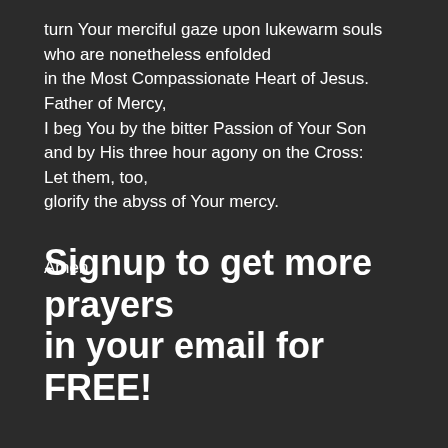turn Your merciful gaze upon lukewarm souls
who are nonetheless enfolded
in the Most Compassionate Heart of Jesus.
Father of Mercy,
I beg You by the bitter Passion of Your Son
and by His three hour agony on the Cross:
Let them, too,
glorify the abyss of Your mercy.
Amen.
Signup to get more prayers in your email for FREE!